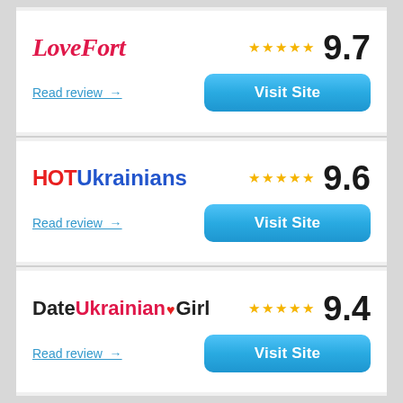[Figure (infographic): LoveFort dating site listing card with logo, 5 stars rating, score 9.7, Read review link, and Visit Site button]
[Figure (infographic): HOT Ukrainians dating site listing card with logo, 5 stars rating, score 9.6, Read review link, and Visit Site button]
[Figure (infographic): DateUkrainianGirl dating site listing card with logo, 5 stars rating, score 9.4, Read review link, and Visit Site button]